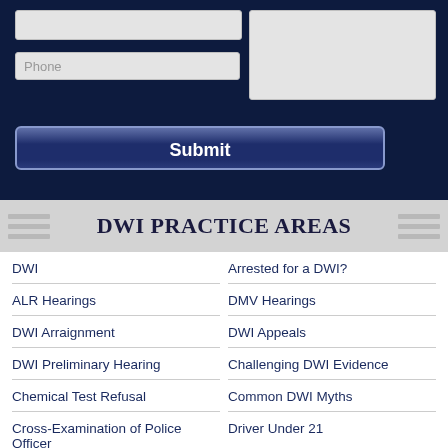[Figure (screenshot): Dark navy blue form section with text input fields (name, phone, message textarea) and a Submit button]
DWI PRACTICE AREAS
DWI
Arrested for a DWI?
ALR Hearings
DMV Hearings
DWI Arraignment
DWI Appeals
DWI Preliminary Hearing
Challenging DWI Evidence
Chemical Test Refusal
Common DWI Myths
Cross-Examination of Police Officer
Driver Under 21
CDL DWI
DWI & Drugs